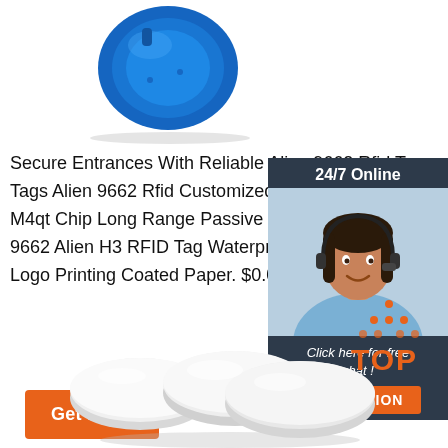[Figure (photo): Blue RFID wristband tag viewed from above]
Secure Entrances With Reliable Alien 9662 Rfid Tags Alien 9662 Rfid Customized UHF Tags Alien H... M4qt Chip Long Range Passive UHF Rfid Label Sticker 9662 Alien H3 RFID Tag Waterproof Weatherproof,... Logo Printing Coated Paper. $0.07-$0.15 Piece. 100...
[Figure (photo): Customer service representative with headset, 24/7 Online sidebar widget with Click here for free chat and QUOTATION button]
Get Price
[Figure (logo): TOP logo with orange dots arranged in triangle above the word TOP in orange]
[Figure (photo): White circular RFID disc tags arranged in a group]